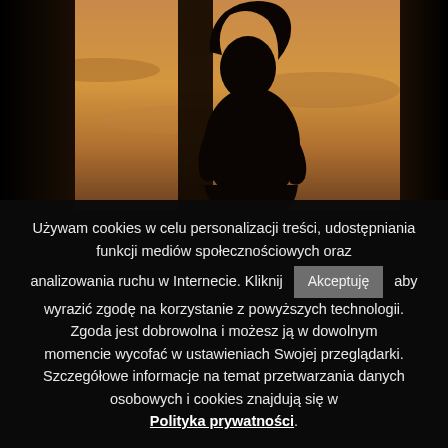[Figure (photo): Silhouette of a pregnant woman standing in front of windows with warm sunset/dawn light in the background. Dark columns frame the figure.]
Używam cookies w celu personalizacji treści, udostępniania funkcji mediów społecznościowych oraz analizowania ruchu w Internecie. Kliknij Akceptuję aby wyrazić zgodę na korzystanie z powyższych technologii. Zgoda jest dobrowolna i możesz ją w dowolnym momencie wycofać w ustawieniach Swojej przeglądarki. Szczegółowe informacje na temat przetwarzania danych osobowych i cookies znajdują się w Polityka prywatności.